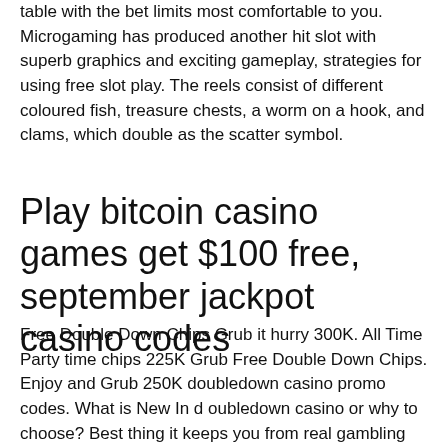table with the bet limits most comfortable to you. Microgaming has produced another hit slot with superb graphics and exciting gameplay, strategies for using free slot play. The reels consist of different coloured fish, treasure chests, a worm on a hook, and clams, which double as the scatter symbol.
Play bitcoin casino games get $100 free, september jackpot casino codes
Free Double Down Chips Grub it hurry 300K. All Time Party time chips 225K Grub Free Double Down Chips. Enjoy and Grub 250K doubledown casino promo codes. What is New In d oubledown casino or why to choose? Best thing it keeps you from real gambling also gives you a full feel like a real gambling game experience, jackpot casino free bonus. In the bonus rounds, you get